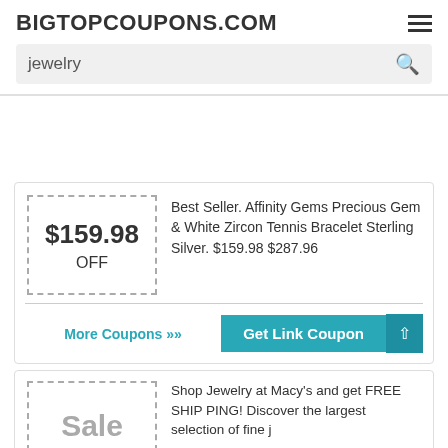BIGTOPCOUPONS.COM
jewelry
Best Seller. Affinity Gems Precious Gem & White Zircon Tennis Bracelet Sterling Silver. $159.98 $287.96
$159.98 OFF
More Coupons ›› | Get Link Coupon
Shop Jewelry at Macy's and get FREE SHIPPING! Discover the largest selection of fine j